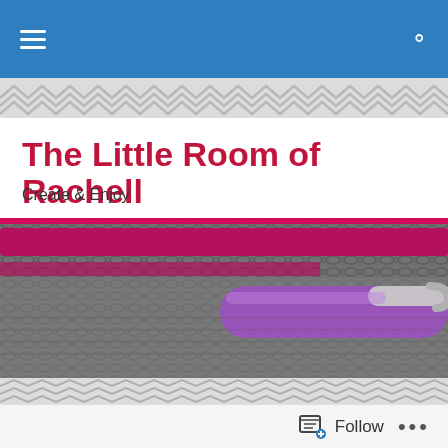Navigation bar with menu and search icons
The Little Room of Rachell
Create & Enjoy
[Figure (photo): Close-up photo of grey crochet work with pink/magenta yarn and a purple crochet hook.]
Prachi's bag
Backdated crochet post for good reason, it was a surprise for Prachi:
Follow  •••